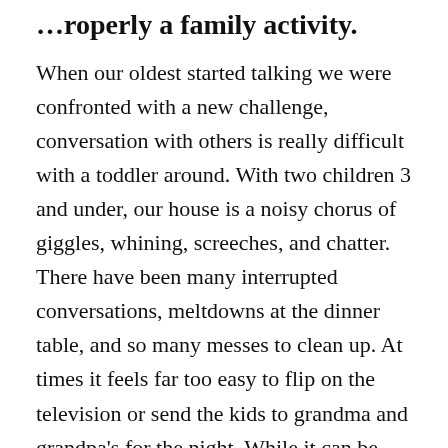…roperly a family activity.
When our oldest started talking we were confronted with a new challenge, conversation with others is really difficult with a toddler around. With two children 3 and under, our house is a noisy chorus of giggles, whining, screeches, and chatter. There have been many interrupted conversations, meltdowns at the dinner table, and so many messes to clean up. At times it feels far too easy to flip on the television or send the kids to grandma and grandpa's for the night. While it can be nice to have adult conversation from time to time, a